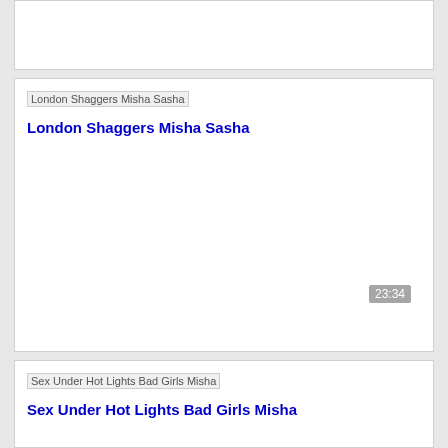[Figure (screenshot): Partially visible card at top]
[Figure (screenshot): Card with broken image placeholder labeled 'London Shaggers Misha Sasha' and bold blue title text, timestamp 23:34]
London Shaggers Misha Sasha
[Figure (screenshot): Card with broken image placeholder labeled 'Sex Under Hot Lights Bad Girls Misha' and bold blue title text]
Sex Under Hot Lights Bad Girls Misha